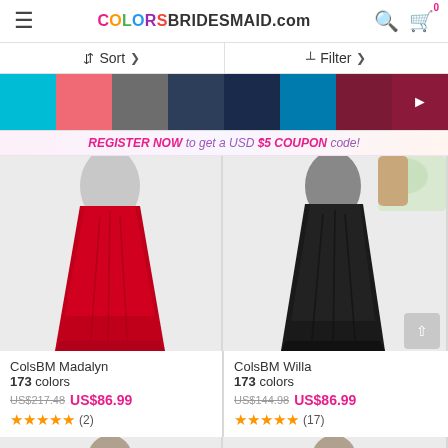COLORSBRIDESMAID.com
Sort | Filter
[Figure (other): Color swatches row: cyan, pink, gray, dark blue, navy, teal, maroon, with right arrow for more]
REGISTER NOW to get a USD $5 COUPON code!
[Figure (photo): Red bridesmaid gown product photo - ColsBM Madalyn]
ColsBM Madalyn
173 colors
US$217.48  US$86.99
★★★★★ (2)
[Figure (photo): Black bridesmaid gown product photo - ColsBM Willa with flowers]
ColsBM Willa
173 colors
US$144.98  US$86.99
★★★★★ (17)
[Figure (photo): Partial product photos at bottom of page]